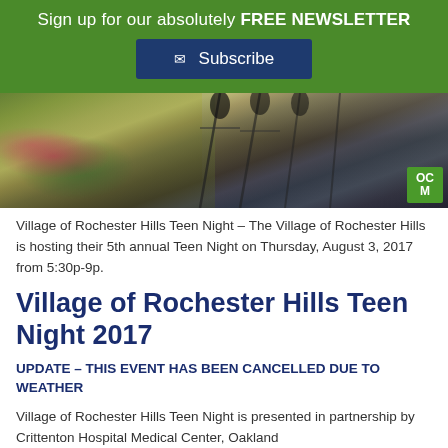Sign up for our absolutely FREE NEWSLETTER
Subscribe
[Figure (photo): Outdoor event photo showing microphone stands, greenery with pink/red flowers, and people at what appears to be an outdoor concert or event. A green OCM logo badge is in the bottom right corner.]
Village of Rochester Hills Teen Night – The Village of Rochester Hills is hosting their 5th annual Teen Night on Thursday, August 3, 2017 from 5:30p-9p.
Village of Rochester Hills Teen Night 2017
UPDATE – THIS EVENT HAS BEEN CANCELLED DUE TO WEATHER
Village of Rochester Hills Teen Night is presented in partnership by Crittenton Hospital Medical Center, Oakland